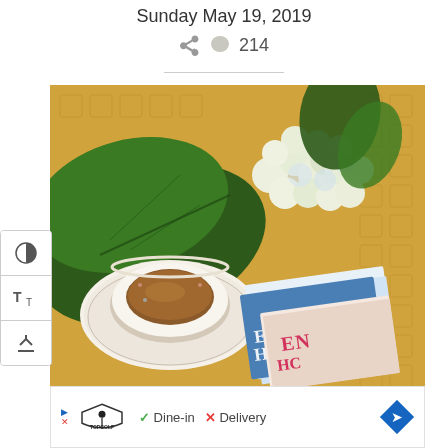Sunday May 19, 2019
214
[Figure (photo): A top-down photo of a tea cup on a saucer, white hydrangea flowers with green leaves, and two copies of 'The English Home' magazine on a patterned golden/tan surface.]
Dine-in  ✓  Delivery  ✗